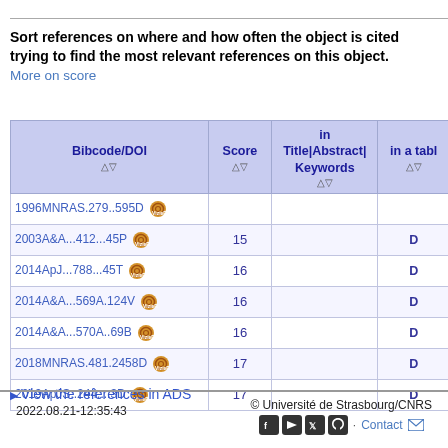Sort references on where and how often the object is cited trying to find the most relevant references on this object.
More on score
| Bibcode/DOI △▽ | Score △▽ | in Title|Abstract|Keywords △▽ | in a table △▽ |
| --- | --- | --- | --- |
| 1996MNRAS.279..595D [vizier] |  |  |  |
| 2003A&A...412...45P [vizier] | 15 |  | D |
| 2014ApJ...788...45T [vizier] | 16 |  | D |
| 2014A&A...569A.124V [vizier] | 16 |  | D |
| 2014A&A...570A..69B [vizier] | 16 |  | D |
| 2018MNRAS.481.2458D [vizier] | 17 |  | D |
| 2019ApJS..244....3D [vizier] | 17 |  | D |
▶ View the references in ADS
2022.08.21-12:35:43   © Université de Strasbourg/CNRS   Contact